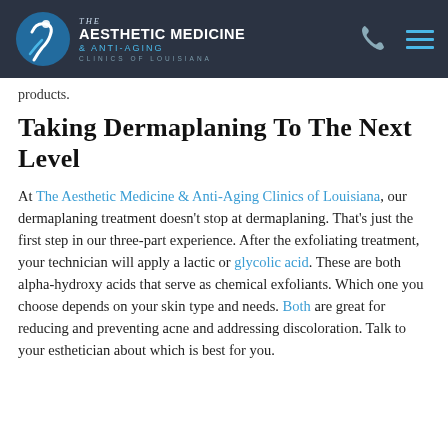The Aesthetic Medicine & Anti-Aging Clinics of Louisiana
products.
Taking Dermaplaning To The Next Level
At The Aesthetic Medicine & Anti-Aging Clinics of Louisiana, our dermaplaning treatment doesn't stop at dermaplaning. That's just the first step in our three-part experience. After the exfoliating treatment, your technician will apply a lactic or glycolic acid. These are both alpha-hydroxy acids that serve as chemical exfoliants. Which one you choose depends on your skin type and needs. Both are great for reducing and preventing acne and addressing discoloration. Talk to your esthetician about which is best for you.